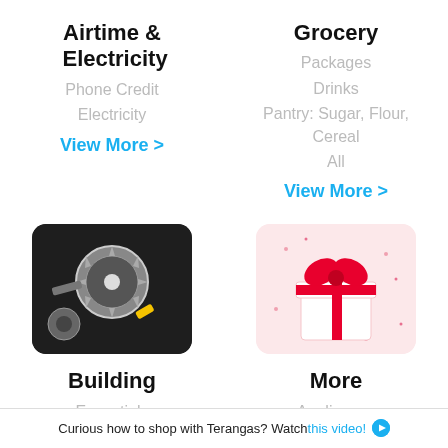Airtime & Electricity
Phone Credit
Electricity
View More >
Grocery
Packages
Drinks
Pantry: Sugar, Flour, Cereal
All
View More >
[Figure (photo): Tools: circular saw blade and mechanical parts on dark background]
Building
Essentials
Equipment & Tools
Doors & Locks
[Figure (photo): Gift: a white gift with red ribbon bow on pink background with sparkles]
More
Appliances
Baby & Children
Cleaning
Curious how to shop with Terangas? Watch this video!